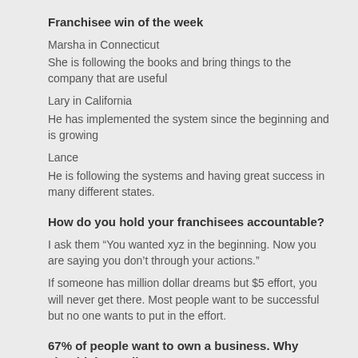Franchisee win of the week
Marsha in Connecticut
She is following the books and bring things to the company that are useful
Lary in California
He has implemented the system since the beginning and is growing
Lance
He is following the systems and having great success in many different states.
How do you hold your franchisees accountable?
I ask them “You wanted xyz in the beginning. Now you are saying you don’t through your actions.”
If someone has million dollar dreams but $5 effort, you will never get there. Most people want to be successful but no one wants to put in the effort.
67% of people want to own a business. Why should they call you?